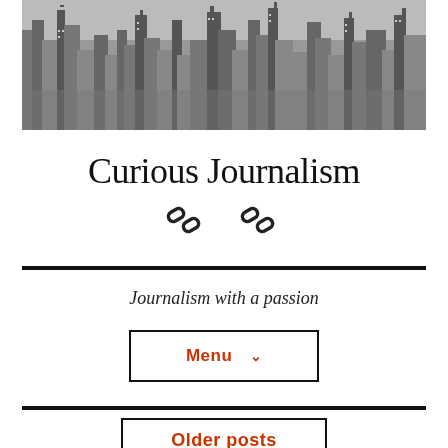[Figure (photo): Black and white aerial photo of a city skyline with skyscrapers]
Curious Journalism
[Figure (other): Two chain link icons]
Journalism with a passion
Menu ∨
Older posts